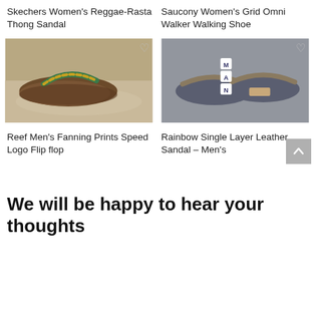Skechers Women's Reggae-Rasta Thong Sandal
Saucony Women's Grid Omni Walker Walking Shoe
[Figure (photo): Skechers Women's Reggae-Rasta Thong Sandal on sandy beach, brown sandal with colorful woven strap]
[Figure (photo): Rainbow Single Layer Leather Sandal Men's, grey/blue flip flop sandal with letter tiles M, A, N on grey background]
Reef Men's Fanning Prints Speed Logo Flip flop
Rainbow Single Layer Leather Sandal – Men's
We will be happy to hear your thoughts